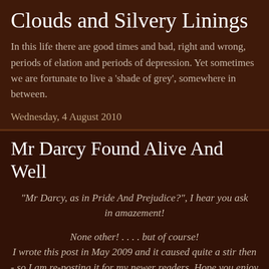Clouds and Silvery Linings
In this life there are good times and bad, right and wrong, periods of elation and periods of depression. Yet sometimes we are fortunate to live a 'shade of grey', somewhere in between.
Wednesday, 4 August 2010
Mr Darcy Found Alive And Well
"Mr Darcy, as in Pride And Prejudice?", I hear you ask in amazement!
None other! . . . . but of course!
I wrote this post in May 2009 and it caused quite a stir then - so I am re-posting it for my newer readers. Hope you enjoy it as much as I enjoyed writing it